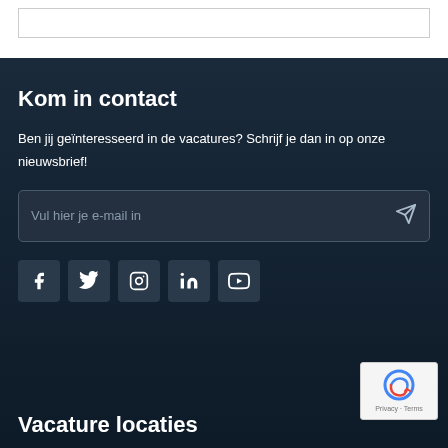Kom in contact
Ben jij geïnteresseerd in de vacatures? Schrijf je dan in op onze nieuwsbrief!
Vul hier je e-mail in
[Figure (infographic): Social media icon buttons: Facebook, Twitter, Instagram, LinkedIn, YouTube]
[Figure (logo): reCAPTCHA badge with Privacy and Terms text]
Vacature locaties